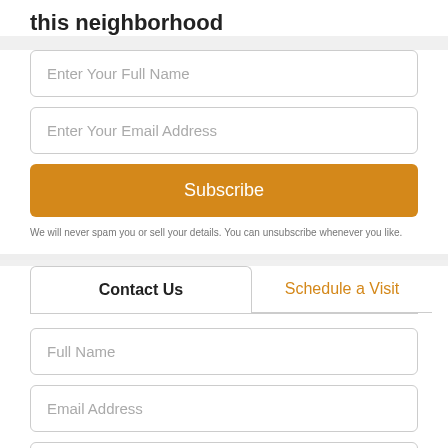this neighborhood
Enter Your Full Name
Enter Your Email Address
Subscribe
We will never spam you or sell your details. You can unsubscribe whenever you like.
Contact Us
Schedule a Visit
Full Name
Email Address
Phone